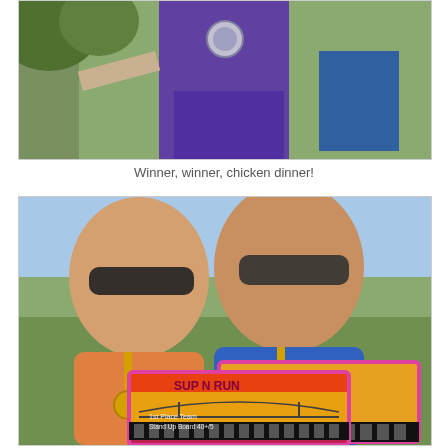[Figure (photo): Partial photo showing a woman in purple outfit with a medal at an outdoor athletic event, people visible in background]
Winner, winner, chicken dinner!
[Figure (photo): Two people smiling and holding SUP N RUN awards/certificates with medals around their necks at an outdoor event. The certificates show 1st Place Team, Stand Up Board 40+/5]